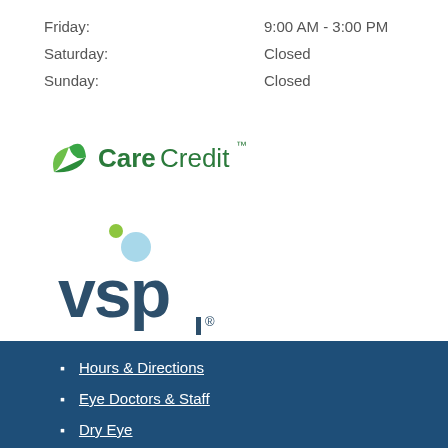Friday: 9:00 AM - 3:00 PM
Saturday: Closed
Sunday: Closed
[Figure (logo): CareCredit logo with green leaf/sail icon and CareCredit text in green]
[Figure (logo): VSP logo with dark teal lowercase letters and colored circles (green and light blue)]
Hours & Directions
Eye Doctors & Staff
Dry Eye